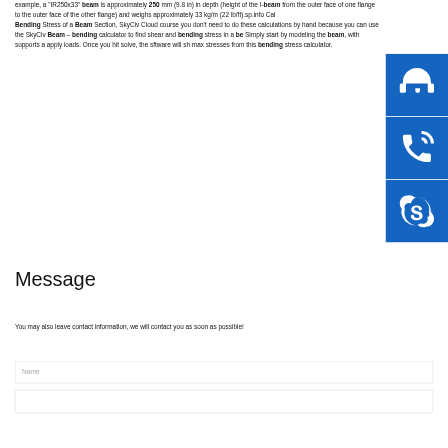example, a "IR250x33" beam is approximately 250 mm (9.8 in) in depth (height of the I-beam from the outer face of one flange to the outer face of the other flange) and weighs approximately 33 kg/m (22 lb/ft).sp.info Cal Bending Stress of a Beam Section, SkyCiv Cloud course you don't need to do these calculations by hand because you can use the SkyCiv Beam – bending calculator to find shear and bending stress in a be Simply start by modeling the beam, with supports a apply loads. Once you hit solve, the sftware will sh max stresses from this bending stress calculator.
[Figure (illustration): Three blue icon boxes stacked vertically on the right side: a customer support/headset icon, a phone/call icon, and a Skype icon.]
Message
You may also leave contact information, we will contact you as soon as possible!